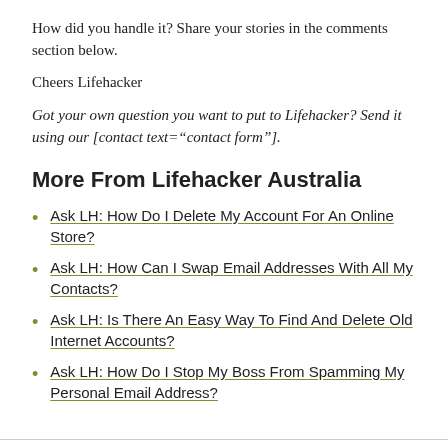How did you handle it? Share your stories in the comments section below.
Cheers Lifehacker
Got your own question you want to put to Lifehacker? Send it using our [contact text="contact form"].
More From Lifehacker Australia
Ask LH: How Do I Delete My Account For An Online Store?
Ask LH: How Can I Swap Email Addresses With All My Contacts?
Ask LH: Is There An Easy Way To Find And Delete Old Internet Accounts?
Ask LH: How Do I Stop My Boss From Spamming My Personal Email Address?